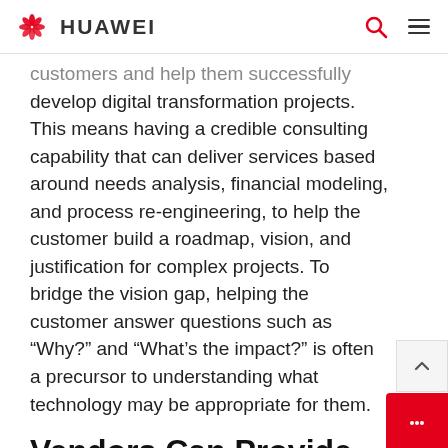HUAWEI
customers and help them successfully develop digital transformation projects. This means having a credible consulting capability that can deliver services based around needs analysis, financial modeling, and process re-engineering, to help the customer build a roadmap, vision, and justification for complex projects. To bridge the vision gap, helping the customer answer questions such as “Why?” and “What’s the impact?” is often a precursor to understanding what technology may be appropriate for them.
Vendors Can Provide Support and Guidance